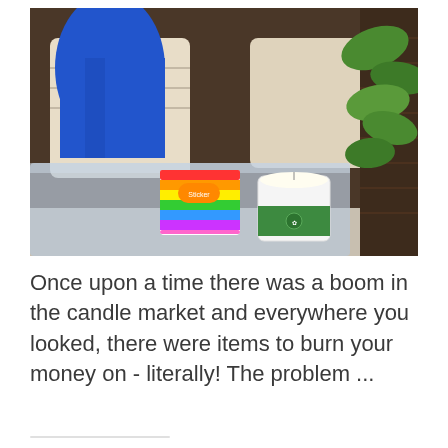[Figure (photo): A person in blue jeans sitting on a dark wicker outdoor sofa with cream cushions. On the glass coffee table in front are a colorful rainbow-striped item and a white candle in a green glass jar. A green leafy plant is visible on the right side.]
Once upon a time there was a boom in the candle market and everywhere you looked, there were items to burn your money on - literally! The problem ...